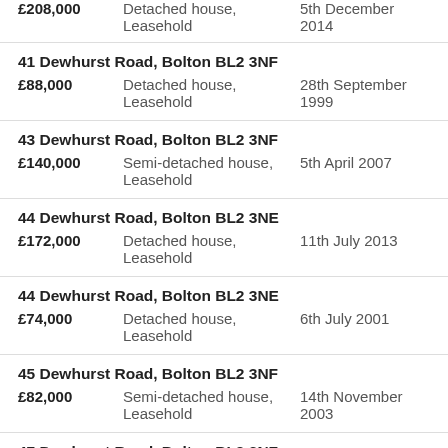£208,000   Detached house, Leasehold   5th December 2014
41 Dewhurst Road, Bolton BL2 3NF
£88,000   Detached house, Leasehold   28th September 1999
43 Dewhurst Road, Bolton BL2 3NF
£140,000   Semi-detached house, Leasehold   5th April 2007
44 Dewhurst Road, Bolton BL2 3NE
£172,000   Detached house, Leasehold   11th July 2013
44 Dewhurst Road, Bolton BL2 3NE
£74,000   Detached house, Leasehold   6th July 2001
45 Dewhurst Road, Bolton BL2 3NF
£82,000   Semi-detached house, Leasehold   14th November 2003
47 Dewhurst Road, Bolton BL2 3NF